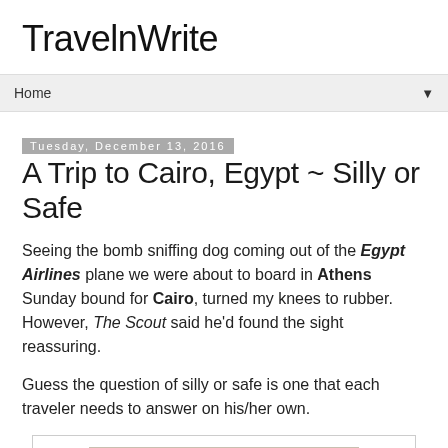TravelnWrite
Home
Tuesday, December 13, 2016
A Trip to Cairo, Egypt ~ Silly or Safe
Seeing the bomb sniffing dog coming out of the Egypt Airlines plane we were about to board in Athens Sunday bound for Cairo, turned my knees to rubber. However, The Scout said he'd found the sight reassuring.
Guess the question of silly or safe is one that each traveler needs to answer on his/her own.
[Figure (photo): Aerial or skyline photo of Cairo, Egypt showing tall buildings and cityscape in hazy/foggy conditions]